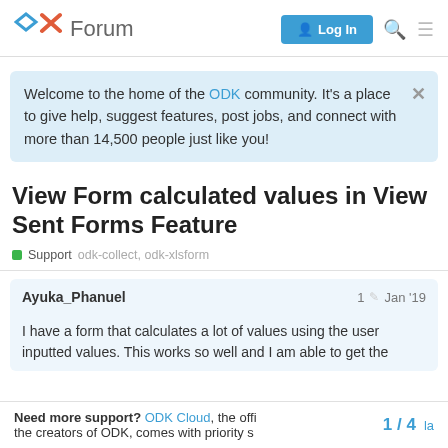ODK Forum — Log In
Welcome to the home of the ODK community. It's a place to give help, suggest features, post jobs, and connect with more than 14,500 people just like you!
View Form calculated values in View Sent Forms Feature
Support   odk-collect, odk-xlsform
Ayuka_Phanuel   1   Jan '19
I have a form that calculates a lot of values using the user inputted values. This works so well and I am able to get the
Need more support? ODK Cloud, the official hosting service from the creators of ODK, comes with priority s   1 / 4